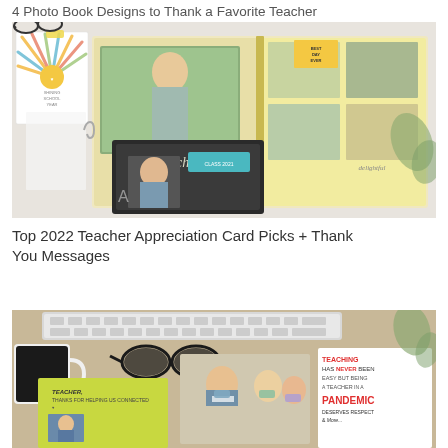4 Photo Book Designs to Thank a Favorite Teacher
[Figure (photo): Photo book spread showing children with teacher, colorful photo book open displaying multiple family/student photos with yellow accents, a chalkboard-theme photo book cover visible in foreground with a woman's portrait]
Top 2022 Teacher Appreciation Card Picks + Thank You Messages
[Figure (photo): Desktop scene with keyboard, coffee cup, glasses, and teacher appreciation cards including a bright yellow card reading 'Teacher thanks for helping us connected' and a card reading 'Teaching has never been easy but being a teacher in a pandemic deserves respect']